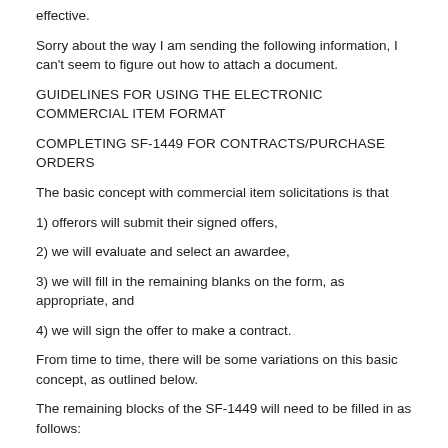effective.
Sorry about the way I am sending the following information, I can't seem to figure out how to attach a document.
GUIDELINES FOR USING THE ELECTRONIC COMMERCIAL ITEM FORMAT
COMPLETING SF-1449 FOR CONTRACTS/PURCHASE ORDERS
The basic concept with commercial item solicitations is that
1) offerors will submit their signed offers,
2) we will evaluate and select an awardee,
3) we will fill in the remaining blanks on the form, as appropriate, and
4) we will sign the offer to make a contract.
From time to time, there will be some variations on this basic concept, as outlined below.
The remaining blocks of the SF-1449 will need to be filled in as follows: